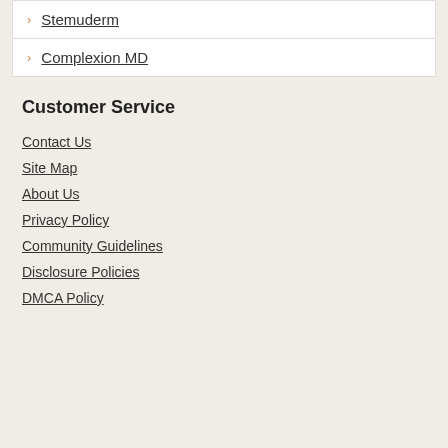Stemuderm
Complexion MD
Customer Service
Contact Us
Site Map
About Us
Privacy Policy
Community Guidelines
Disclosure Policies
DMCA Policy